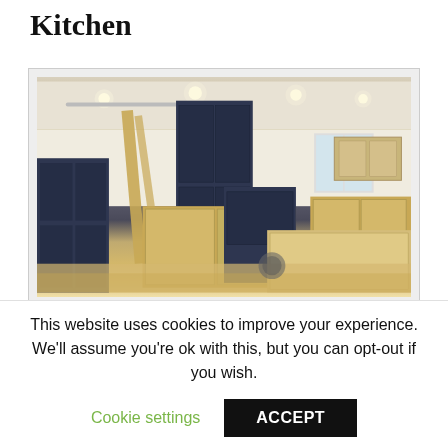Kitchen
[Figure (photo): Kitchen cabinets being installed in a room under renovation — dark navy and natural wood cabinet boxes arranged throughout the space with open drawers and recessed ceiling lights.]
Full article with thanks to: thespruce.com/steps-to-a-kitchen-
This website uses cookies to improve your experience. We'll assume you're ok with this, but you can opt-out if you wish.
Cookie settings   ACCEPT